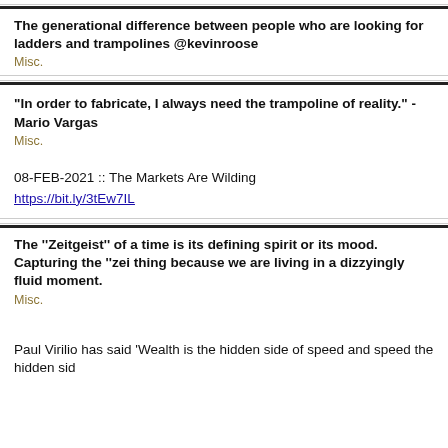The generational difference between people who are looking for ladders and trampolines @kevinroose
Misc.
"In order to fabricate, I always need the trampoline of reality." -Mario Vargas
Misc.
08-FEB-2021 ::  The Markets Are Wilding
https://bit.ly/3tEw7IL
The ''Zeitgeist'' of a time is its defining spirit or its mood. Capturing the ''ze thing because we are living in a dizzyingly fluid moment.
Misc.
Paul Virilio has said 'Wealth is the hidden side of speed and speed the hidden sid